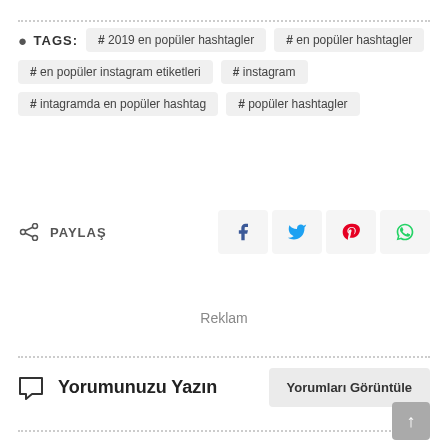TAGS: # 2019 en popüler hashtagler  # en popüler hashtagler  # en popüler instagram etiketleri  # instagram  # intagramda en popüler hashtag  # popüler hashtagler
PAYLAŞ
Reklam
Yorumunuzu Yazın
Yorumları Görüntüle